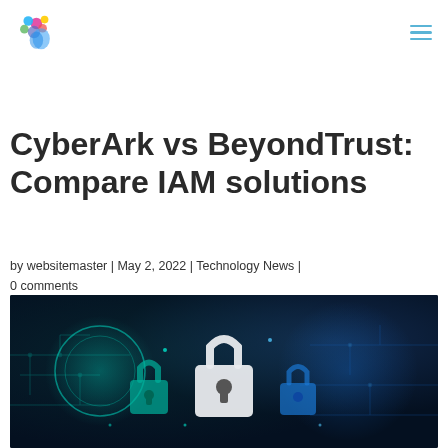CyberArk vs BeyondTrust: Compare IAM solutions
by websitemaster | May 2, 2022 | Technology News | 0 comments
[Figure (photo): Cybersecurity themed image showing glowing teal and blue padlock icons on a dark circuit board background, representing IAM/security solutions]